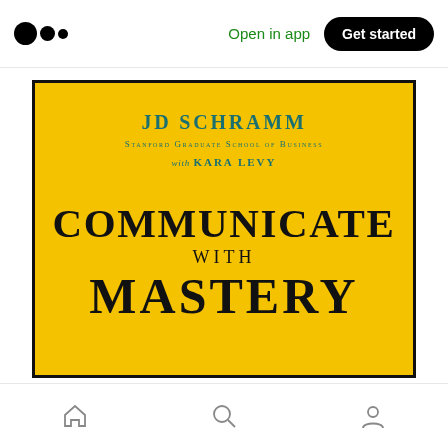Open in app  Get started
[Figure (illustration): Book cover for 'Communicate with Mastery' by JD Schramm, Stanford Graduate School of Business, with Kara Levy. Yellow background with dark blue/teal author text and black title text.]
Home  Search  Profile